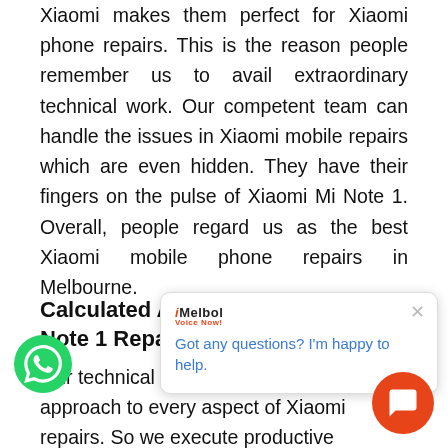Xiaomi makes them perfect for Xiaomi phone repairs. This is the reason people remember us to avail extraordinary technical work. Our competent team can handle the issues in Xiaomi mobile repairs which are even hidden. They have their fingers on the pulse of Xiaomi Mi Note 1. Overall, people regard us as the best Xiaomi mobile phone repairs in Melbourne.
Calculated Approach for Mi Note 1 Repairs
Our technical staff follows a unique approach to every aspect of Xiaomi repairs. So we execute productive solutions for all that was not possible before. Our different approach has enabled us to find solutions for Xiaomi
[Figure (screenshot): Chat popup overlay from iMelbourne showing logo and message 'Got any questions? I'm happy to help.' with a close (X) button]
[Figure (illustration): Green WhatsApp circular button in the bottom left corner]
[Figure (illustration): Orange chat circular button in the bottom right corner]